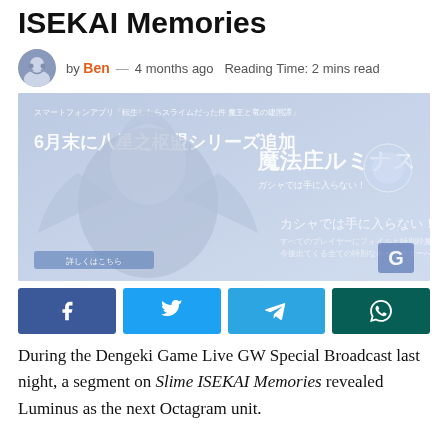ISEKAI Memories
by Ben — 4 months ago  Reading Time: 2 mins read
[Figure (photo): Promotional image for Slime ISEKAI Memories featuring Japanese text and an anime character (Luminus), with Chinese text announcing the addition of the Octagram series and text about exclusive characters.]
During the Dengeki Game Live GW Special Broadcast last night, a segment on Slime ISEKAI Memories revealed Luminus as the next Octagram unit.